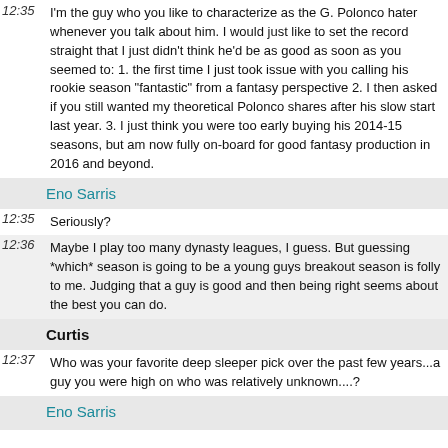12:35  I'm the guy who you like to characterize as the G. Polonco hater whenever you talk about him. I would just like to set the record straight that I just didn't think he'd be as good as soon as you seemed to: 1. the first time I just took issue with you calling his rookie season "fantastic" from a fantasy perspective 2. I then asked if you still wanted my theoretical Polonco shares after his slow start last year. 3. I just think you were too early buying his 2014-15 seasons, but am now fully on-board for good fantasy production in 2016 and beyond.
Eno Sarris
12:35  Seriously?
12:36  Maybe I play too many dynasty leagues, I guess. But guessing *which* season is going to be a young guys breakout season is folly to me. Judging that a guy is good and then being right seems about the best you can do.
Curtis
12:37  Who was your favorite deep sleeper pick over the past few years...a guy you were high on who was relatively unknown....?
Eno Sarris